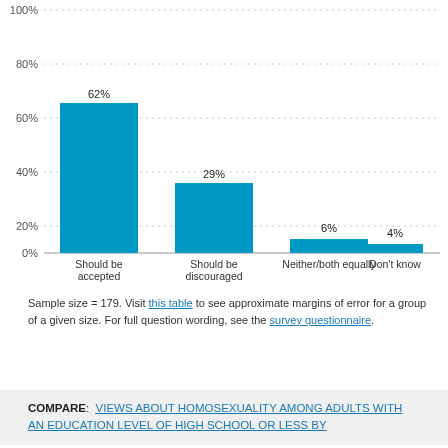[Figure (bar-chart): ]
Sample size = 179. Visit this table to see approximate margins of error for a group of a given size. For full question wording, see the survey questionnaire.
COMPARE: VIEWS ABOUT HOMOSEXUALITY AMONG ADULTS WITH AN EDUCATION LEVEL OF HIGH SCHOOL OR LESS BY